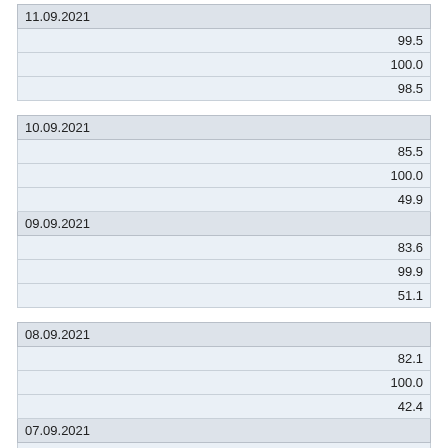| 11.09.2021 |
| 99.5 |
| 100.0 |
| 98.5 |
| 10.09.2021 |
| 85.5 |
| 100.0 |
| 49.9 |
| 09.09.2021 |
| 83.6 |
| 99.9 |
| 51.1 |
| 08.09.2021 |
| 82.1 |
| 100.0 |
| 42.4 |
| 07.09.2021 |
| 78.9 |